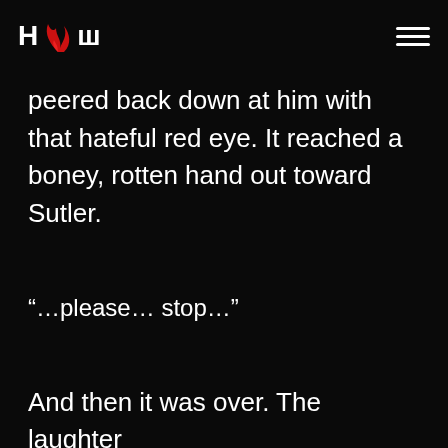HCW logo with hamburger menu
peered back down at him with that hateful red eye. It reached a boney, rotten hand out toward Sutler.
“…please… stop…”
And then it was over. The laughter